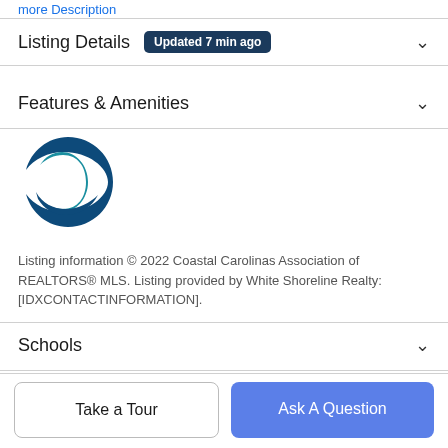more Description
Listing Details  Updated 7 min ago
Features & Amenities
[Figure (logo): Coastal Carolinas Association of REALTORS MLS logo — teal and dark blue stylized house/C shape]
Listing information © 2022 Coastal Carolinas Association of REALTORS® MLS. Listing provided by White Shoreline Realty:[IDXCONTACTINFORMATION].
Schools
Take a Tour
Ask A Question